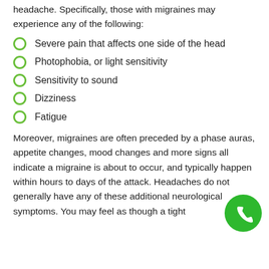headache. Specifically, those with migraines may experience any of the following:
Severe pain that affects one side of the head
Photophobia, or light sensitivity
Sensitivity to sound
Dizziness
Fatigue
Moreover, migraines are often preceded by a phase auras, appetite changes, mood changes and more signs all indicate a migraine is about to occur, and typically happen within hours to days of the attack. Headaches do not generally have any of these additional neurological symptoms. You may feel as though a tight